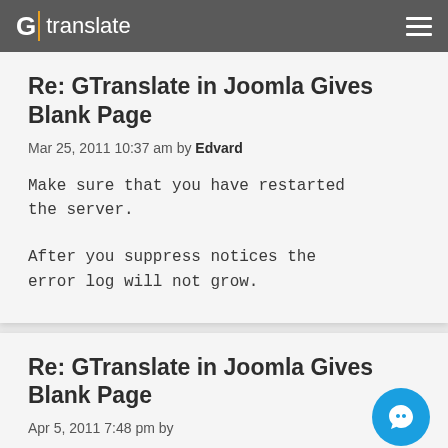G | translate
Re: GTranslate in Joomla Gives Blank Page
Mar 25, 2011 10:37 am by Edvard
Make sure that you have restarted the server.

After you suppress notices the error log will not grow.
Re: GTranslate in Joomla Gives Blank Page
Apr 5, 2011 7:48 pm by